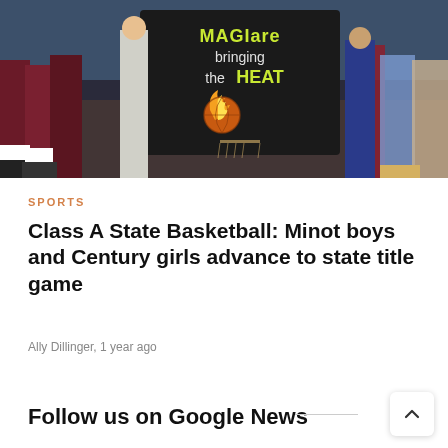[Figure (photo): Basketball game scene with fans holding a dark banner that reads 'MAGIare bringing the HEAT' with a flaming basketball graphic. Players in maroon and blue uniforms visible on the court.]
SPORTS
Class A State Basketball: Minot boys and Century girls advance to state title game
Ally Dillinger, 1 year ago
Follow us on Google News